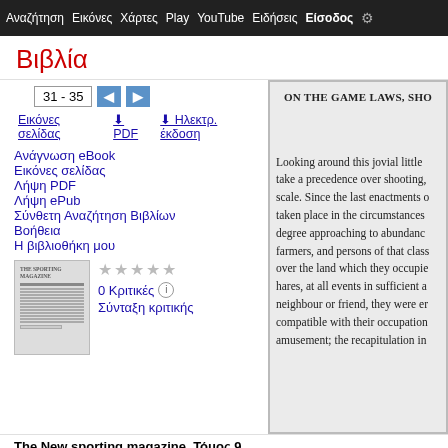Αναζήτηση  Εικόνες  Χάρτες  Play  YouTube  Ειδήσεις  Είσοδος
Βιβλία
31 - 35
Εικόνες σελίδας  ⬇ PDF  ⬇ Ηλεκτρ. έκδοση
Ανάγνωση eBook
Εικόνες σελίδας
Λήψη PDF
Λήψη ePub
Σύνθετη Αναζήτηση Βιβλίων
Βοήθεια
Η βιβλιοθήκη μου
0 Κριτικές
Σύνταξη κριτικής
The New sporting magazine, Τόμος 9
[Figure (screenshot): Scanned book page showing text: ON THE GAME LAWS, SHO... and paragraph beginning 'Looking around this jovial little take a precedence over shooting, scale. Since the last enactments taken place in the circumstances degree approaching to abundanc farmers, and persons of that cla over the land which they occupie hares, at all events in sufficient a neighbour or friend, they were e compatible with their occupation amusement; the recapitulation in']
Μετάβαση